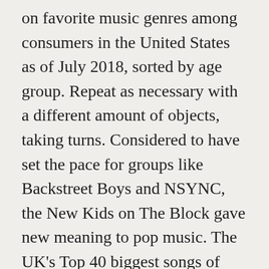on favorite music genres among consumers in the United States as of July 2018, sorted by age group. Repeat as necessary with a different amount of objects, taking turns. Considered to have set the pace for groups like Backstreet Boys and NSYNC, the New Kids on The Block gave new meaning to pop music. The UK's Top 40 biggest songs of 2019 have been unveiled, and Lewis Capaldi takes the Number 1 spot with Someone You Loved. This is generally differentiated from a one-hit wonder in that the artist usually has success with other songs as well. For the few years that One Direction was a band, they managed to top various charts across Europe and America. Their song 'End of the Road,' which was their first chart-topper.